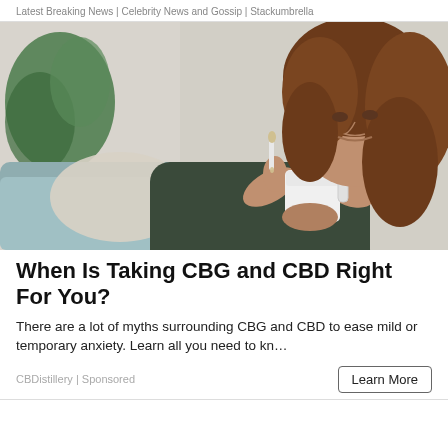Latest Breaking News | Celebrity News and Gossip | Stackumbrella
[Figure (photo): Woman with curly auburn hair sitting on a couch, dripping CBD/CBG oil drops into a white mug she is holding]
When Is Taking CBG and CBD Right For You?
There are a lot of myths surrounding CBG and CBD to ease mild or temporary anxiety. Learn all you need to kn…
CBDistillery | Sponsored